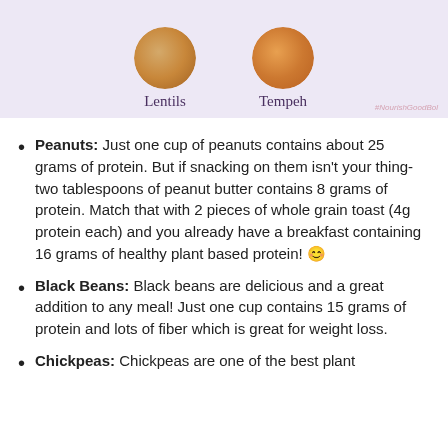[Figure (photo): Top section with lavender background showing two food items: Lentils (round pile of lentils) and Tempeh (orange-brown block), each labeled below with their names in purple serif font. A watermark is visible in the bottom right.]
Peanuts: Just one cup of peanuts contains about 25 grams of protein. But if snacking on them isn't your thing- two tablespoons of peanut butter contains 8 grams of protein. Match that with 2 pieces of whole grain toast (4g protein each) and you already have a breakfast containing 16 grams of healthy plant based protein! 😊
Black Beans: Black beans are delicious and a great addition to any meal! Just one cup contains 15 grams of protein and lots of fiber which is great for weight loss.
Chickpeas: Chickpeas are one of the best plant based sources of protein with 39...